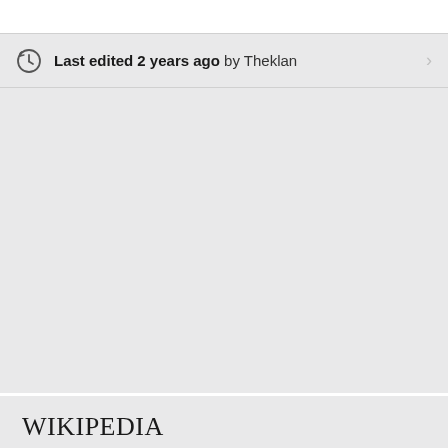Last edited 2 years ago by Theklan
[Figure (logo): Wikipedia wordmark logo at bottom left]
WIKIPEDIA